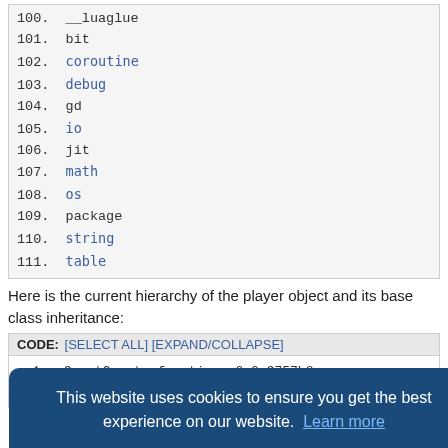100.  __luaglue
101.  bit
102.  coroutine
103.  debug
104.  gd
105.  io
106.  jit
107.  math
108.  os
109.  package
110.  string
111.  table
Here is the current hierarchy of the player object and its base class inheritance:
CODE: [SELECT ALL] [EXPAND/COLLAPSE]
1.   GrantQuest: function: 0x0a9757b8
2.   GetQuestState: function: 0x0a978538
13.   __cname: Actor
This website uses cookies to ensure you get the best experience on our website. Learn more
Got it!